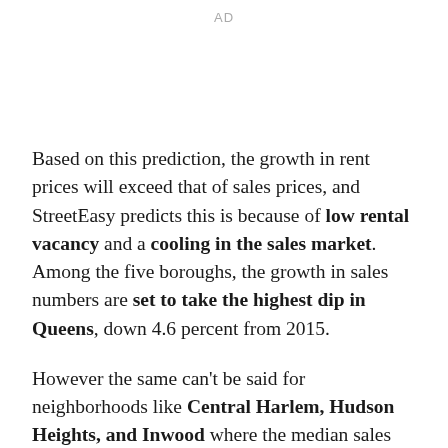AD
Based on this prediction, the growth in rent prices will exceed that of sales prices, and StreetEasy predicts this is because of low rental vacancy and a cooling in the sales market. Among the five boroughs, the growth in sales numbers are set to take the highest dip in Queens, down 4.6 percent from 2015.
However the same can't be said for neighborhoods like Central Harlem, Hudson Heights, and Inwood where the median sales price is expected to grow by 10.2